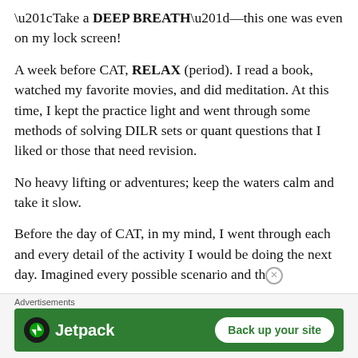“Take a DEEP BREATH”—this one was even on my lock screen!
A week before CAT, RELAX (period). I read a book, watched my favorite movies, and did meditation. At this time, I kept the practice light and went through some methods of solving DILR sets or quant questions that I liked or those that need revision.
No heavy lifting or adventures; keep the waters calm and take it slow.
Before the day of CAT, in my mind, I went through each and every detail of the activity I would be doing the next day. Imagined every possible scenario and th…
[Figure (screenshot): Jetpack advertisement banner with green background showing Jetpack logo and 'Back up your site' button]